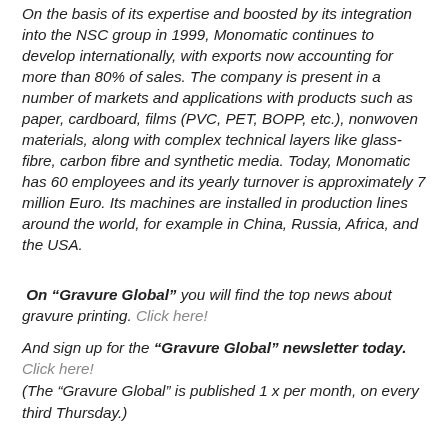On the basis of its expertise and boosted by its integration into the NSC group in 1999, Monomatic continues to develop internationally, with exports now accounting for more than 80% of sales. The company is present in a number of markets and applications with products such as paper, cardboard, films (PVC, PET, BOPP, etc.), nonwoven materials, along with complex technical layers like glass-fibre, carbon fibre and synthetic media. Today, Monomatic has 60 employees and its yearly turnover is approximately 7 million Euro. Its machines are installed in production lines around the world, for example in China, Russia, Africa, and the USA.
On “Gravure Global” you will find the top news about gravure printing. Click here!
And sign up for the “Gravure Global” newsletter today. Click here! (The “Gravure Global” is published 1 x per month, on every third Thursday.)